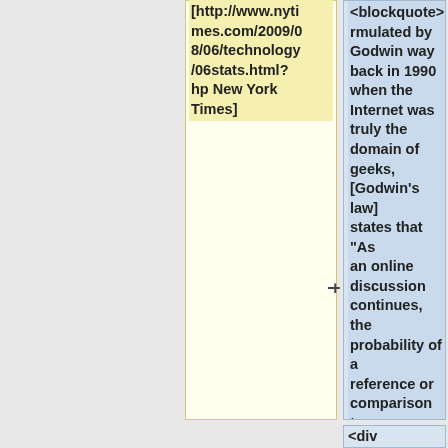[http://www.nytimes.com/2009/08/06/technology/06stats.html?hp New York Times]
<blockquote>Formulated by Godwin way back in 1990 when the Internet was truly the domain of geeks, [Godwin's law] states that "As an online discussion continues, the probability of a reference or comparison to Hitler or to Nazis approaches 1.</blockquote>
<div